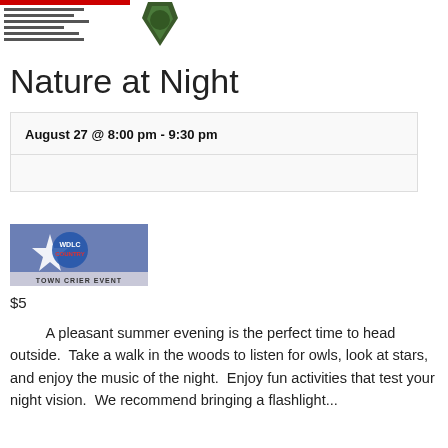[Figure (logo): Header with organization logo and shield/badge emblem with text lines]
Nature at Night
| August 27 @ 8:00 pm - 9:30 pm |
|  |
[Figure (logo): WDLC Country radio logo with star graphic and TOWN CRIER EVENT banner on blue background]
$5
A pleasant summer evening is the perfect time to head outside.  Take a walk in the woods to listen for owls, look at stars, and enjoy the music of the night.  Enjoy fun activities that test your night vision.  We recommend bringing a flashlight...